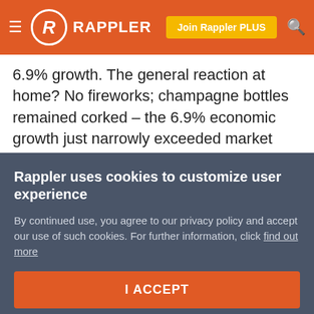RAPPLER — Join Rappler PLUS
6.9% growth. The general reaction at home? No fireworks; champagne bottles remained corked – the 6.9% economic growth just narrowly exceeded market expectations.
Such tempered public response shows that high growth numbers have become the norm under the watch of President Benigno Aquino III. Many say that they have not "felt" the improvement in the economy, so much so that this became one of the defining narratives of the last elections.
Rappler uses cookies to customize user experience
By continued use, you agree to our privacy policy and accept our use of such cookies. For further information, click find out more
I ACCEPT